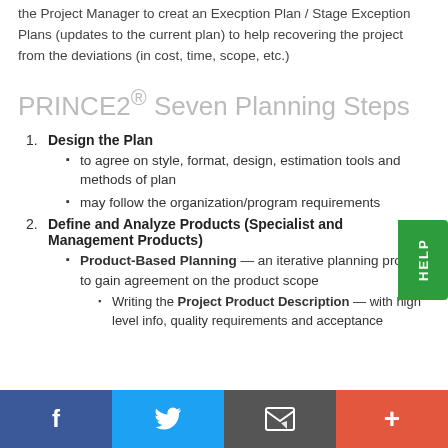the Project Manager to creat an Execption Plan / Stage Exception Plans (updates to the current plan) to help recovering the project from the deviations (in cost, time, scope, etc.)
PRINCE2® Seven Planning Steps
1. Design the Plan
to agree on style, format, design, estimation tools and methods of plan
may follow the organization/program requirements
2. Define and Analyze Products (Specialist and Management Products)
Product-Based Planning — an iterative planning process to gain agreement on the product scope
Writing the Project Product Description — with high level info, quality requirements and acceptance